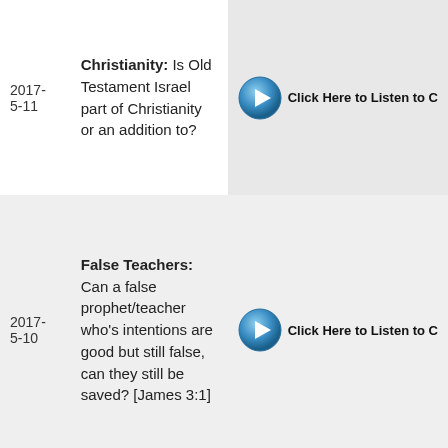| Date | Topic | Listen |
| --- | --- | --- |
| 2017-5-11 | Christianity: Is Old Testament Israel part of Christianity or an addition to? | Click Here to Listen to C |
| 2017-5-10 | False Teachers: Can a false prophet/teacher who's intentions are good but still false, can they still be saved? [James 3:1] | Click Here to Listen to C |
|  | Calvinism & Predestination: Regarding |  |